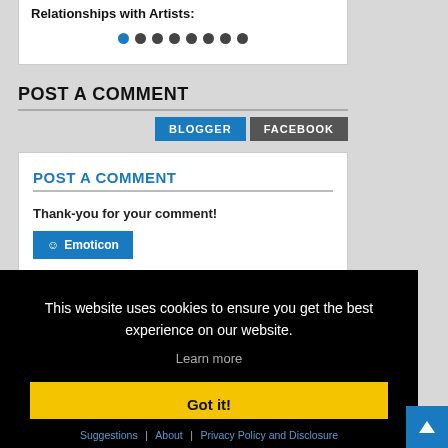Relationships with Artists:
[Figure (other): Navigation dots: one blue filled dot followed by seven dark filled dots]
POST A COMMENT
BLOGGER | FACEBOOK buttons
POST A COMMENT
Thank-you for your comment!
☺ Emoticon
This website uses cookies to ensure you get the best experience on our website. Learn more
Got it!
Suggestions | About | Privacy Policy and Disclosure